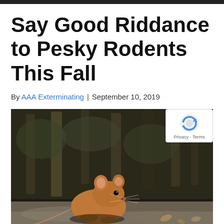Say Good Riddance to Pesky Rodents This Fall
By AAA Exterminating | September 10, 2019
[Figure (photo): Close-up photo of a brown mouse on the ground outdoors, with blurred dark forest background and autumn leaves. A reCAPTCHA privacy badge overlays the top-right corner of the image.]